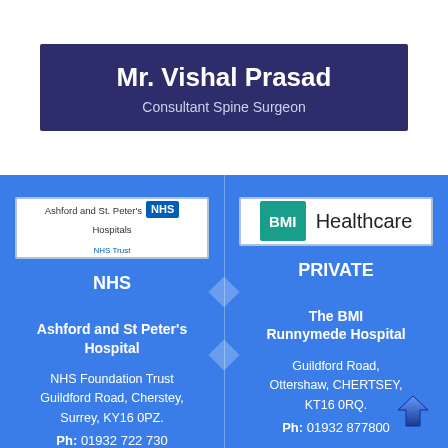Mr. Vishal Prasad
Consultant Spine Surgeon
[Figure (logo): Ashford and St. Peter's Hospitals NHS Trust logo]
NHS
Ashford and St Peter's Hospital
NHS Foundation Trust
Guildford Road, Cherstey,
Surrey, KY16 0PZ.
Ph: 01932 722 730
[Figure (logo): BMI Healthcare logo]
PRIVATE
The BMI Runnymede Hospital
Guildford Road,
Ottershaw, CHERTSEY,
KT16 0RQ.
Ph: 01932 877800